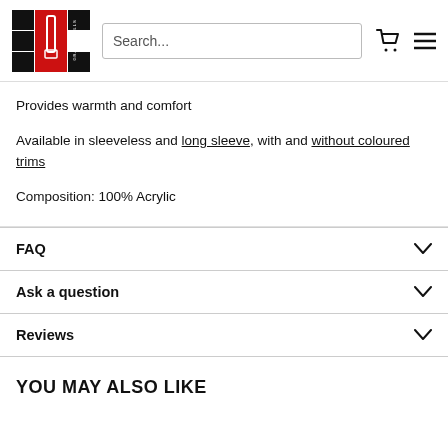[Figure (logo): Gray-Nicolls cricket brand logo — red vertical rectangle with white cricket bat graphic, surrounded by black squares forming a cross pattern]
Provides warmth and comfort
Available in sleeveless and long sleeve, with and without coloured trims
Composition: 100% Acrylic
FAQ
Ask a question
Reviews
YOU MAY ALSO LIKE